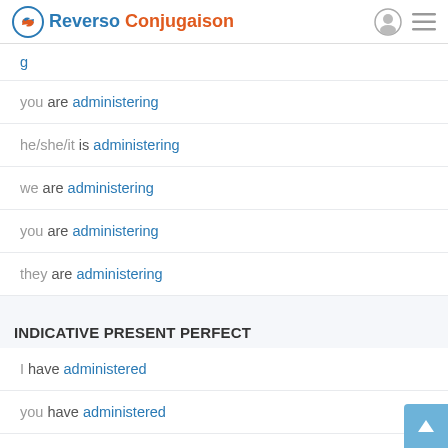Reverso Conjugaison
you are administering
he/she/it is administering
we are administering
you are administering
they are administering
INDICATIVE PRESENT PERFECT
I have administered
you have administered
he/she/it has administered